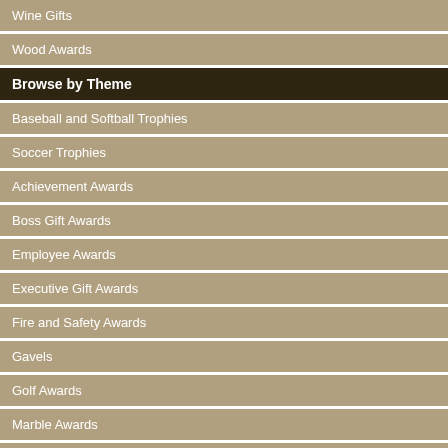Wine Gifts
Wood Awards
Browse by Theme
Baseball and Softball Trophies
Soccer Trophies
Achievement Awards
Boss Gift Awards
Employee Awards
Executive Gift Awards
Fire and Safety Awards
Gavels
Golf Awards
Marble Awards
Patriotic Awards
Religious Awards
Sales Awards
$128.78 - $250.25
$68.53 - $17...
[Figure (photo): Global Honor Clear Optical Crystal Award product photo]
Global Honor Clear Optical Crystal Awards
$147.88 - $307.00
[Figure (photo): High-Rise P... Clear Optical Crystal Award product photo (partially visible)]
High-Rise P... Clear Opt... Crystal Aw...
$41.65 - $7...
Luxor Clear Optical Crystal Awards
$267.58 - $347.50
Luxury Diam... Circle Cle... Optical Cry... Awards
$115.50 - $1...
Go to Page: [Prev...